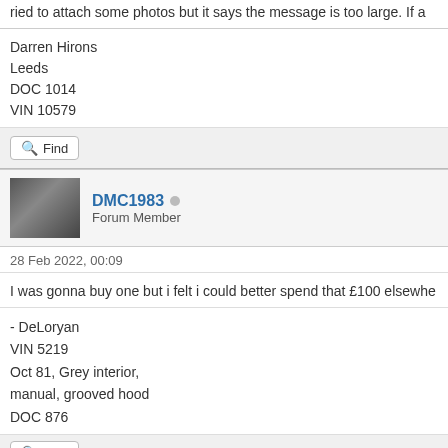ried to attach some photos but it says the message is too large. If a
Darren Hirons
Leeds
DOC 1014
VIN 10579
Find
DMC1983
Forum Member
28 Feb 2022, 00:09
I was gonna buy one but i felt i could better spend that £100 elsewhe
- DeLoryan
VIN 5219
Oct 81, Grey interior,
manual, grooved hood
DOC 876
Find